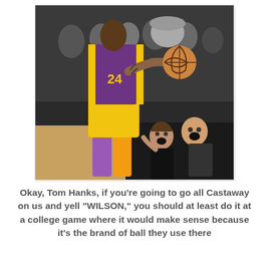[Figure (photo): A Lakers basketball player in yellow and purple uniform (#24) holding a basketball, with Tom Hanks and a woman reacting with surprised expressions while sitting courtside.]
Okay, Tom Hanks, if you're going to go all Castaway on us and yell "WILSON," you should at least do it at a college game where it would make sense because it's the brand of ball they use there